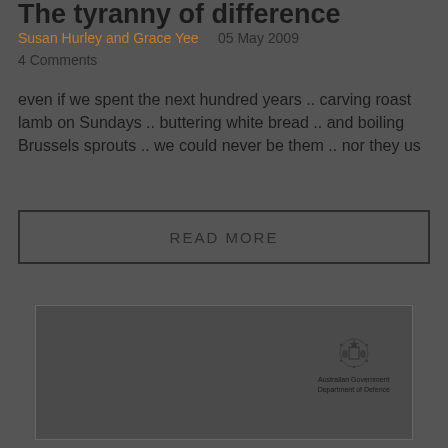The tyranny of difference
Susan Hurley and Grace Yee | 05 May 2009
4 Comments
even if we spent the next hundred years .. carving roast lamb on Sundays .. buttering white bread .. and boiling Brussels sprouts .. we could never be them .. nor they us
READ MORE
[Figure (logo): Australian Government Department of Defence logo with coat of arms emblem]